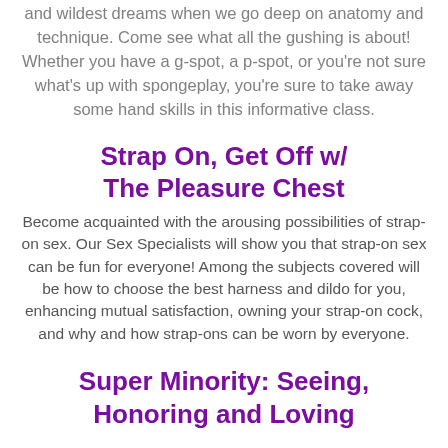and wildest dreams when we go deep on anatomy and technique. Come see what all the gushing is about! Whether you have a g-spot, a p-spot, or you're not sure what's up with spongeplay, you're sure to take away some hand skills in this informative class.
Strap On, Get Off w/ The Pleasure Chest
Become acquainted with the arousing possibilities of strap-on sex. Our Sex Specialists will show you that strap-on sex can be fun for everyone! Among the subjects covered will be how to choose the best harness and dildo for you, enhancing mutual satisfaction, owning your strap-on cock, and why and how strap-ons can be worn by everyone.
Super Minority: Seeing, Honoring and Loving